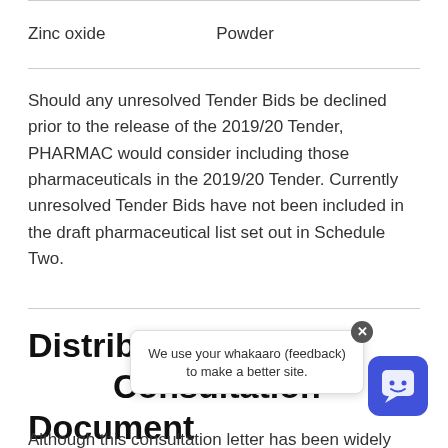| Zinc oxide | Powder |
Should any unresolved Tender Bids be declined prior to the release of the 2019/20 Tender, PHARMAC would consider including those pharmaceuticals in the 2019/20 Tender. Currently unresolved Tender Bids have not been included in the draft pharmaceutical list set out in Schedule Two.
Distribution Consultation Document
Although this consultation letter has been widely